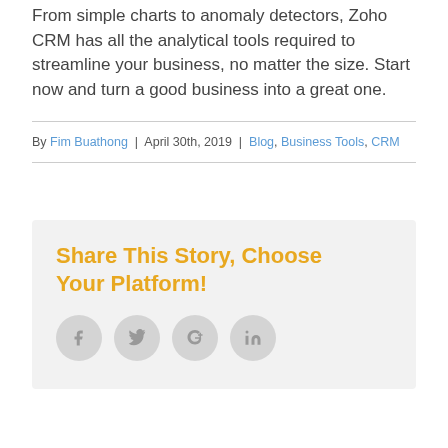From simple charts to anomaly detectors, Zoho CRM has all the analytical tools required to streamline your business, no matter the size. Start now and turn a good business into a great one.
By Fim Buathong | April 30th, 2019 | Blog, Business Tools, CRM
Share This Story, Choose Your Platform!
[Figure (other): Social sharing icons: Facebook, Twitter, Google+, LinkedIn]